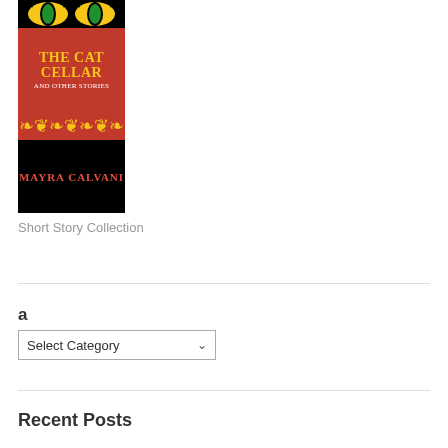[Figure (illustration): Book cover for 'The Cat Cellar and Other Stories' by Mayra Calvani. Black background with cat eyes at top, red background with yellow title text 'THE CAT CELLAR', white subtitle 'AND OTHER STORIES', ornamental border, and author name 'MAYRA CALVANI' in red/orange text at bottom.]
Short Story Collection
a
Select Category
Recent Posts